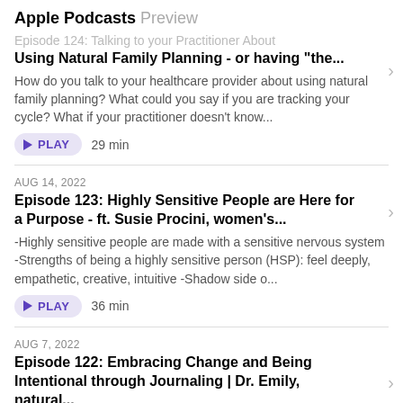Apple Podcasts Preview
Episode 124: Talking to your Practitioner About Using Natural Family Planning - or having "the...
How do you talk to your healthcare provider about using natural family planning? What could you say if you are tracking your cycle? What if your practitioner doesn't know...
PLAY  29 min
AUG 14, 2022
Episode 123: Highly Sensitive People are Here for a Purpose - ft. Susie Procini, women's...
-Highly sensitive people are made with a sensitive nervous system -Strengths of being a highly sensitive person (HSP): feel deeply, empathetic, creative, intuitive -Shadow side o...
PLAY  36 min
AUG 7, 2022
Episode 122: Embracing Change and Being Intentional through Journaling | Dr. Emily, natural...
Journaling has CHANGED my life! In this episode, I talk about what my journaling practice has looked like since starting in February 2018 and how you can use journaling to embrace...